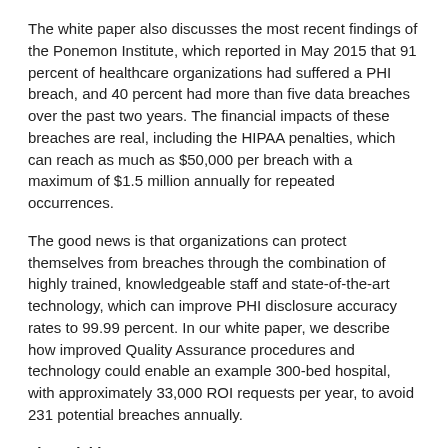The white paper also discusses the most recent findings of the Ponemon Institute, which reported in May 2015 that 91 percent of healthcare organizations had suffered a PHI breach, and 40 percent had more than five data breaches over the past two years. The financial impacts of these breaches are real, including the HIPAA penalties, which can reach as much as $50,000 per breach with a maximum of $1.5 million annually for repeated occurrences.
The good news is that organizations can protect themselves from breaches through the combination of highly trained, knowledgeable staff and state-of-the-art technology, which can improve PHI disclosure accuracy rates to 99.99 percent. In our white paper, we describe how improved Quality Assurance procedures and technology could enable an example 300-bed hospital, with approximately 33,000 ROI requests per year, to avoid 231 potential breaches annually.
Financial impacts
Beyond the steep HIPAA penalties and settlement agreement fines described above, organizations also face $8,000 to $300,000 in costs from a reported improper PHI disclosure, according to an estimate from the American National Standards Institute, who surveyed